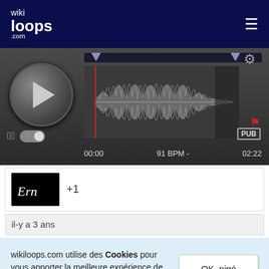[Figure (screenshot): Wikiloops.com website header with logo and hamburger menu on dark navy background]
[Figure (screenshot): Audio player with waveform, playback controls, time 00:00 to 02:22, 91 BPM, PUB badge]
[Figure (screenshot): Track thumbnail card with cursive 'Ern' text logo on black background and +1 text]
+1
il-y a 3 ans
wikiloops.com utilise des Cookies pour vous apporter la meilleure expérience de navigation. En apprendre plus sur notre charte des données privées .
OK, pigé